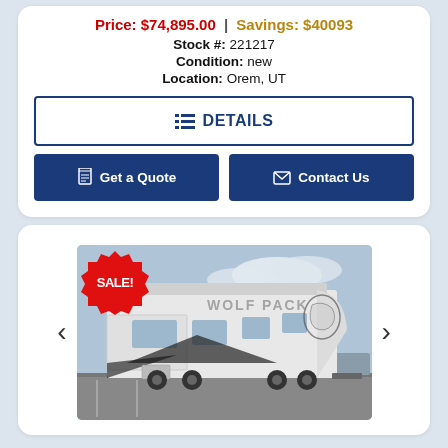Price: $74,895.00 | Savings: $40093
Stock #: 221217
Condition: new
Location: Orem, UT
DETAILS
Get a Quote
Contact Us
[Figure (photo): RV fifth wheel trailer with SALE badge in top-left corner, white trailer with eagle graphics on front, photographed in a parking lot with cloudy sky background. Carousel navigation arrows on left and right sides.]